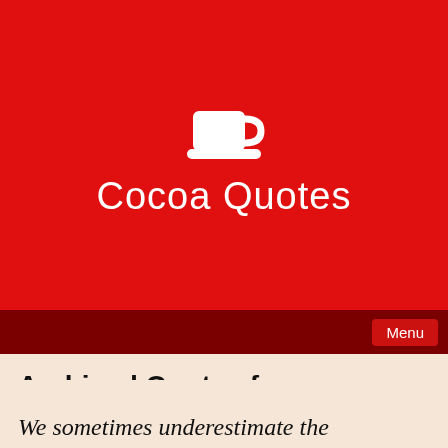[Figure (logo): White coffee cup and saucer icon on red background]
Cocoa Quotes
Menu
Archived Quotes from September 2019
We sometimes underestimate the